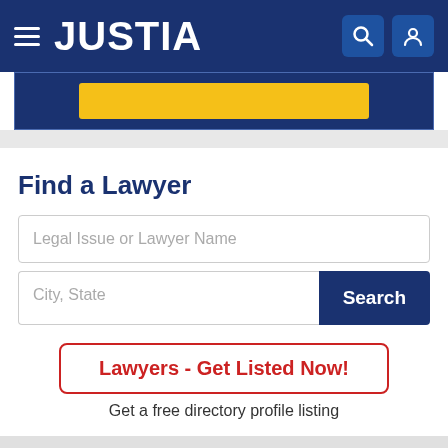JUSTIA
[Figure (screenshot): Yellow search bar input area within dark blue Justia navigation header]
Find a Lawyer
Legal Issue or Lawyer Name
City, State
Search
Lawyers - Get Listed Now!
Get a free directory profile listing
Ask a Lawyer
Question: